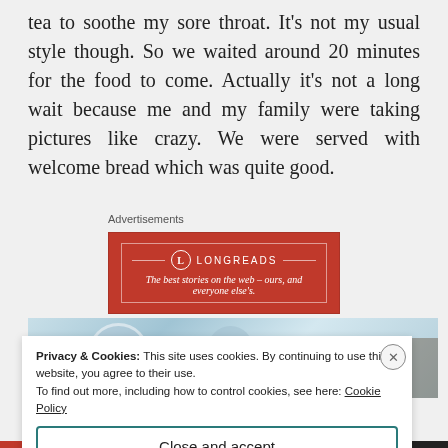tea to soothe my sore throat. It's not my usual style though. So we waited around 20 minutes for the food to come. Actually it's not a long wait because me and my family were taking pictures like crazy. We were served with welcome bread which was quite good.
Advertisements
[Figure (screenshot): Longreads advertisement banner. Red background with white border. Logo line: circle with L, horizontal lines, LONGREADS in caps. Tagline: The best stories on the web – ours, and everyone else's.]
[Figure (photo): Partial photo of food or drink items on a table, light blue-toned image showing plates and cups.]
Privacy & Cookies: This site uses cookies. By continuing to use this website, you agree to their use.
To find out more, including how to control cookies, see here: Cookie Policy
Close and accept